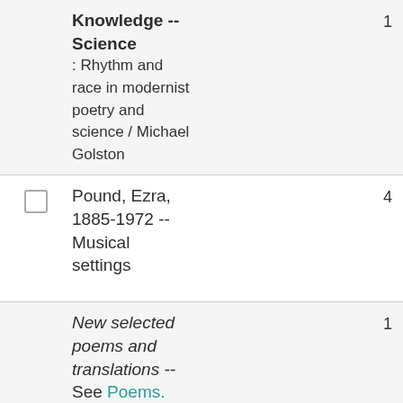Knowledge -- Science : Rhythm and race in modernist poetry and science / Michael Golston
Pound, Ezra, 1885-1972 -- Musical settings
New selected poems and translations -- See Poems. Selections